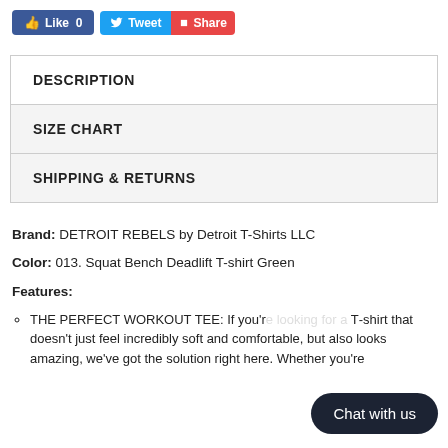[Figure (other): Social sharing buttons: Facebook Like (0), Twitter Tweet, and red Share button]
DESCRIPTION
SIZE CHART
SHIPPING & RETURNS
Brand: DETROIT REBELS by Detroit T-Shirts LLC
Color: 013. Squat Bench Deadlift T-shirt Green
Features:
THE PERFECT WORKOUT TEE: If you're... T-shirt that doesn't just feel incredibly soft and comfortable, but also looks amazing, we've got the solution right here. Whether you're
[Figure (other): Chat with us button overlay]